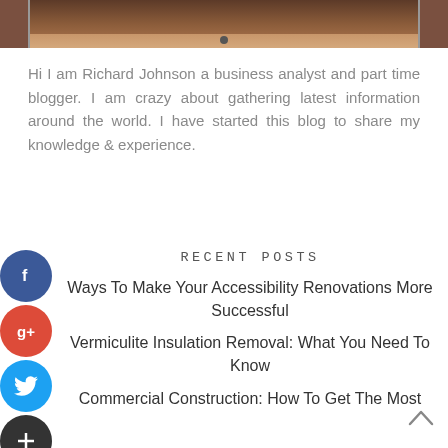[Figure (photo): Partial photo of a person, cropped at the top of the page showing neck and lower face area]
Hi I am Richard Johnson a business analyst and part time blogger. I am crazy about gathering latest information around the world. I have started this blog to share my knowledge & experience.
RECENT POSTS
Ways To Make Your Accessibility Renovations More Successful
Vermiculite Insulation Removal: What You Need To Know
Commercial Construction: How To Get The Most